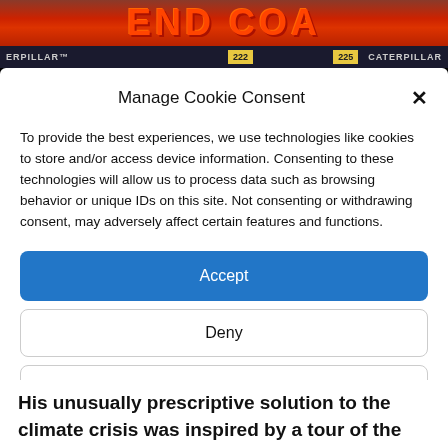[Figure (photo): Sports event photo showing a red 'END COAL' banner/sign with Caterpillar advertising boards numbered 222 and 225 visible at the bottom]
Manage Cookie Consent
To provide the best experiences, we use technologies like cookies to store and/or access device information. Consenting to these technologies will allow us to process data such as browsing behavior or unique IDs on this site. Not consenting or withdrawing consent, may adversely affect certain features and functions.
Accept
Deny
View preferences
Cookie Policy  Privacy policy
His unusually prescriptive solution to the climate crisis was inspired by a tour of the Pacific, where